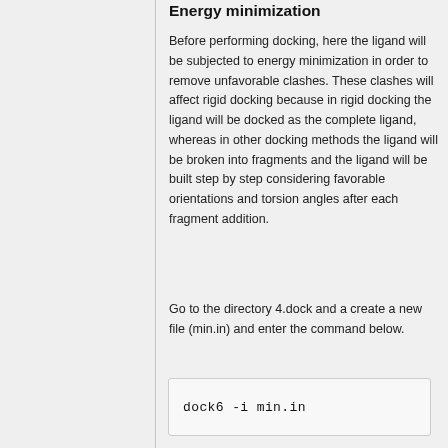Energy minimization
Before performing docking, here the ligand will be subjected to energy minimization in order to remove unfavorable clashes. These clashes will affect rigid docking because in rigid docking the ligand will be docked as the complete ligand, whereas in other docking methods the ligand will be broken into fragments and the ligand will be built step by step considering favorable orientations and torsion angles after each fragment addition.
Go to the directory 4.dock and a create a new file (min.in) and enter the command below.
dock6 -i min.in